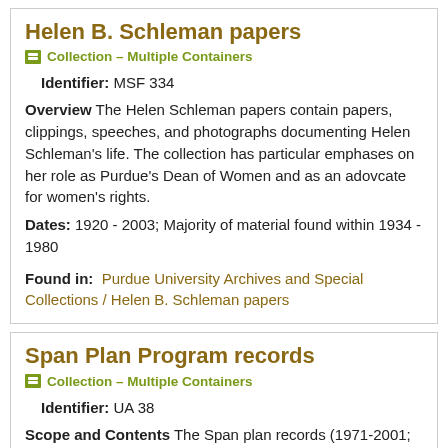Helen B. Schleman papers
Collection – Multiple Containers
Identifier: MSF 334
Overview The Helen Schleman papers contain papers, clippings, speeches, and photographs documenting Helen Schleman's life. The collection has particular emphases on her role as Purdue's Dean of Women and as an adovcate for women's rights.
Dates: 1920 - 2003; Majority of material found within 1934 - 1980
Found in: Purdue University Archives and Special Collections / Helen B. Schleman papers
Span Plan Program records
Collection – Multiple Containers
Identifier: UA 38
Scope and Contents The Span plan records (1971-2001; 2.3 cubic feet) document the SPAN plan